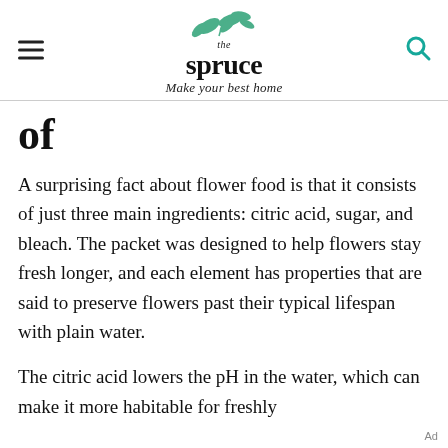the spruce — Make your best home
of
A surprising fact about flower food is that it consists of just three main ingredients: citric acid, sugar, and bleach. The packet was designed to help flowers stay fresh longer, and each element has properties that are said to preserve flowers past their typical lifespan with plain water.
The citric acid lowers the pH in the water, which can make it more habitable for freshly
Ad